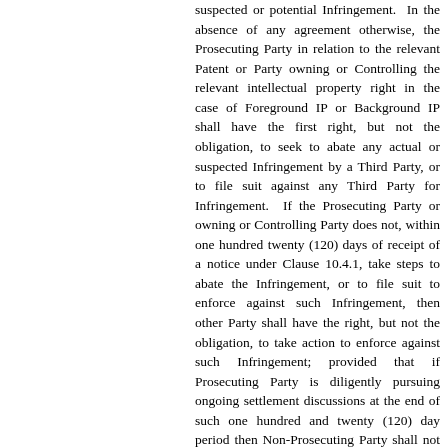suspected or potential Infringement.  In the absence of any agreement otherwise, the Prosecuting Party in relation to the relevant Patent or Party owning or Controlling the relevant intellectual property right in the case of Foreground IP or Background IP shall have the first right, but not the obligation, to seek to abate any actual or suspected Infringement by a Third Party, or to file suit against any Third Party for Infringement.  If the Prosecuting Party or owning or Controlling Party does not, within one hundred twenty (120) days of receipt of a notice under Clause 10.4.1, take steps to abate the Infringement, or to file suit to enforce against such Infringement, then other Party shall have the right, but not the obligation, to take action to enforce against such Infringement; provided that if Prosecuting Party is diligently pursuing ongoing settlement discussions at the end of such one hundred and twenty (120) day period then Non-Prosecuting Party shall not be permitted to exercise such right unless such settlement discussions cease without reaching settlement or Prosecuting Party ceases